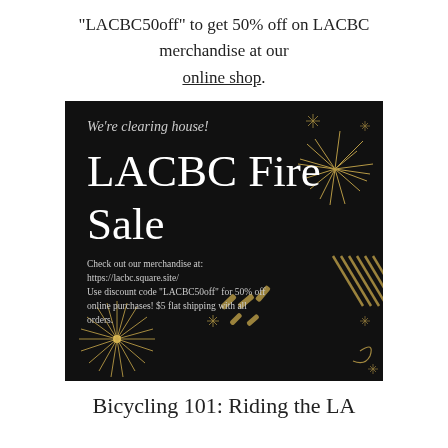“LACBC50off” to get 50% off on LACBC merchandise at our online shop.
[Figure (illustration): Black square promotional banner for LACBC Fire Sale with gold fireworks and starburst decorations. Script text reads 'We're clearing house!' followed by large white serif text 'LACBC Fire Sale'. Body text: 'Check out our merchandise at: https://lacbc.square.site/ Use discount code "LACBC50off" for 50% off online purchases! $5 flat shipping with all orders.']
Bicycling 101: Riding the LA